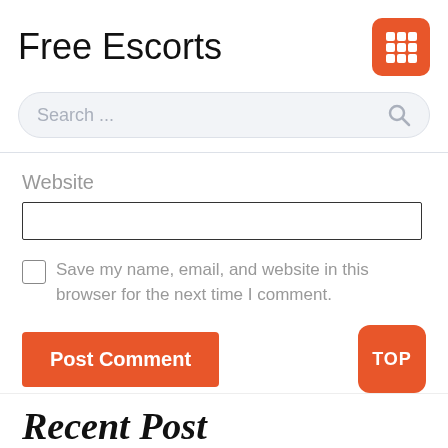Free Escorts
[Figure (other): Orange rounded square grid/menu icon with 9 white squares in 3x3 layout]
[Figure (other): Search bar with placeholder text 'Search ...' and search icon on right]
Website
[Figure (other): Empty text input field for website URL]
[Figure (other): Checkbox (unchecked)]
Save my name, email, and website in this browser for the next time I comment.
[Figure (other): Orange 'Post Comment' button]
[Figure (other): Orange 'TOP' button, rounded square]
Recent Post